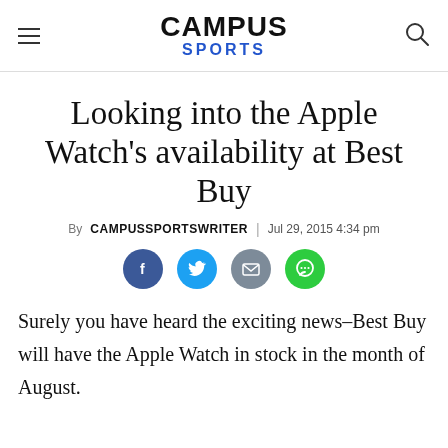CAMPUS SPORTS
Looking into the Apple Watch's availability at Best Buy
By CAMPUSSPORTSWRITER | Jul 29, 2015 4:34 pm
[Figure (infographic): Social share icons: Facebook (dark blue circle), Twitter (light blue circle), Email (grey circle), Comment (green circle)]
Surely you have heard the exciting news–Best Buy will have the Apple Watch in stock in the month of August.